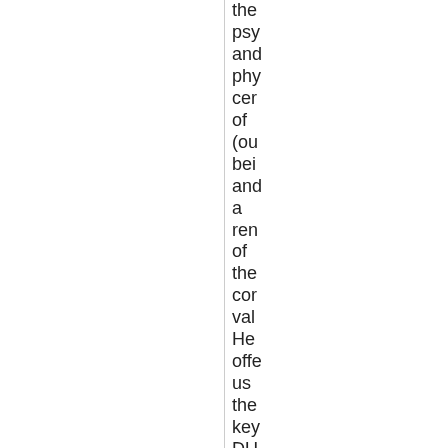the psy and phy cer of (ou bei and a ren of the cor val He offe us the key DU He sta tha wh